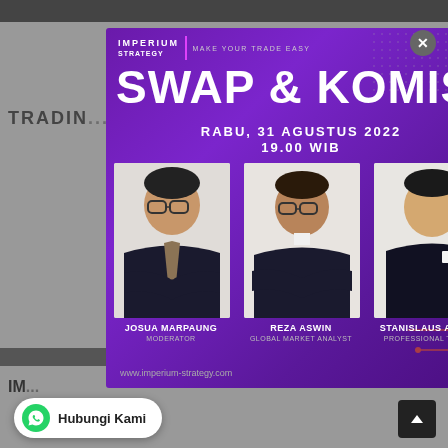[Figure (infographic): Imperium Strategy trading webinar promotional flyer on purple background. Title: SWAP & KOMISI. Event date: RABU, 31 AGUSTUS 2022 at 19.00 WIB. Three speakers shown with photos: JOSUA MARPAUNG (MODERATOR), REZA ASWIN (GLOBAL MARKET ANALYST), STANISLAUS ADRIAN (PROFESSIONAL TRADER). Website: www.imperium-strategy.com. Brand tagline: MAKE YOUR TRADE EASY.]
Hubungi Kami